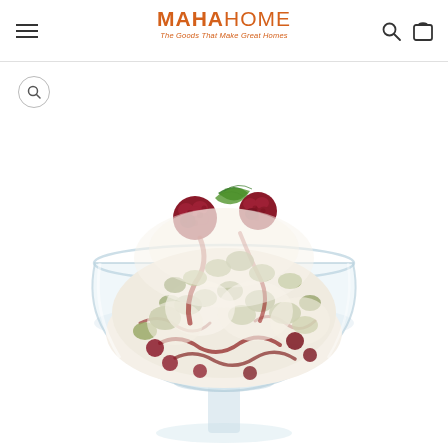MAHAHOME - The Goods That Make Great Homes
[Figure (photo): A glass dessert bowl filled with ice cream, raspberries, nuts and red fruit sauce, garnished with a fresh mint leaf on top, photographed on a white background.]